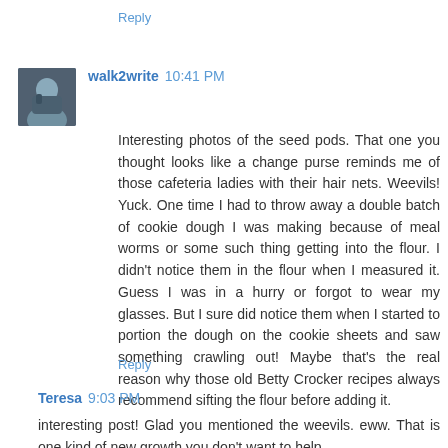Reply
walk2write 10:41 PM
Interesting photos of the seed pods. That one you thought looks like a change purse reminds me of those cafeteria ladies with their hair nets. Weevils! Yuck. One time I had to throw away a double batch of cookie dough I was making because of meal worms or some such thing getting into the flour. I didn't notice them in the flour when I measured it. Guess I was in a hurry or forgot to wear my glasses. But I sure did notice them when I started to portion the dough on the cookie sheets and saw something crawling out! Maybe that's the real reason why those old Betty Crocker recipes always recommend sifting the flour before adding it.
Reply
Teresa 9:03 PM
interesting post! Glad you mentioned the weevils. eww. That is one kind of new growth you don't want to help